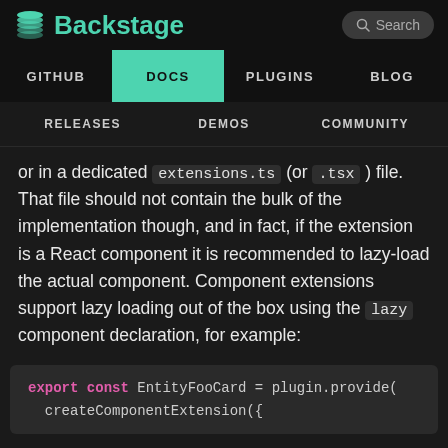Backstage | Search
GITHUB | DOCS | PLUGINS | BLOG
RELEASES | DEMOS | COMMUNITY
or in a dedicated extensions.ts (or .tsx) file. That file should not contain the bulk of the implementation though, and in fact, if the extension is a React component it is recommended to lazy-load the actual component. Component extensions support lazy loading out of the box using the lazy component declaration, for example:
export const EntityFooCard = plugin.provide(
  createComponentExtension({